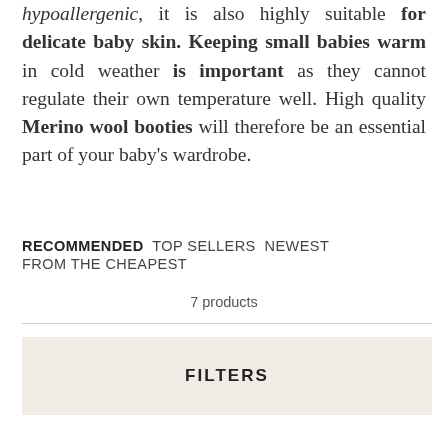hypoallergenic, it is also highly suitable for delicate baby skin. Keeping small babies warm in cold weather is important as they cannot regulate their own temperature well. High quality Merino wool booties will therefore be an essential part of your baby's wardrobe.
RECOMMENDED  TOP SELLERS  NEWEST  FROM THE CHEAPEST
7 products
FILTERS